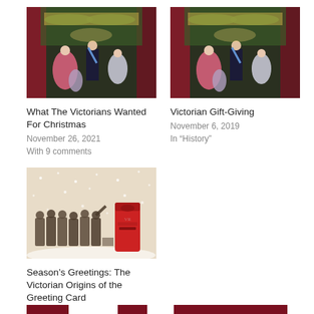[Figure (illustration): Victorian Christmas party illustration - colorful scene with Victorian-era figures in a decorated hall]
What The Victorians Wanted For Christmas
November 26, 2021
With 9 comments
[Figure (illustration): Victorian Christmas party illustration - similar colorful scene with Victorian-era figures]
Victorian Gift-Giving
November 6, 2019
In “History”
[Figure (illustration): Sepia-toned vintage illustration of children posting letters in a red post box in snow]
Season’s Greetings: The Victorian Origins of the Greeting Card
November 27, 2020
With 5 comments